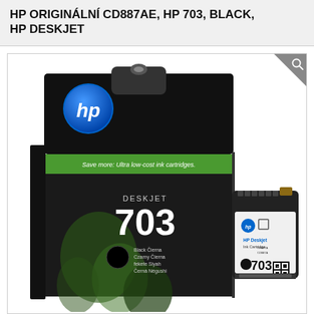HP ORIGINÁLNÍ CD887AE, HP 703, BLACK, HP DESKJET
[Figure (photo): HP 703 Black ink cartridge product photo showing the retail box packaging on the left and the actual ink cartridge on the right. The box is black with green HP logo and text 'Save more: Ultra low-cost ink cartridges.' with DESKJET 703 Black labeling. The cartridge on the right is black with HP Deskjet label showing model 703.]